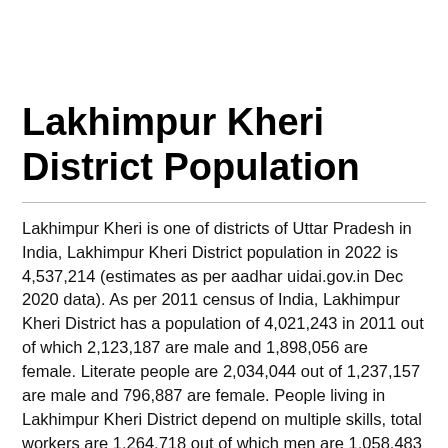Lakhimpur Kheri District Population
Lakhimpur Kheri is one of districts of Uttar Pradesh in India, Lakhimpur Kheri District population in 2022 is 4,537,214 (estimates as per aadhar uidai.gov.in Dec 2020 data). As per 2011 census of India, Lakhimpur Kheri District has a population of 4,021,243 in 2011 out of which 2,123,187 are male and 1,898,056 are female. Literate people are 2,034,044 out of 1,237,157 are male and 796,887 are female. People living in Lakhimpur Kheri District depend on multiple skills, total workers are 1,264,718 out of which men are 1,058,483 and women are 206,235. Total 479,515 Cultivators are depended on agriculture farming out of 449,443 are cultivated by men and 29,072 are women